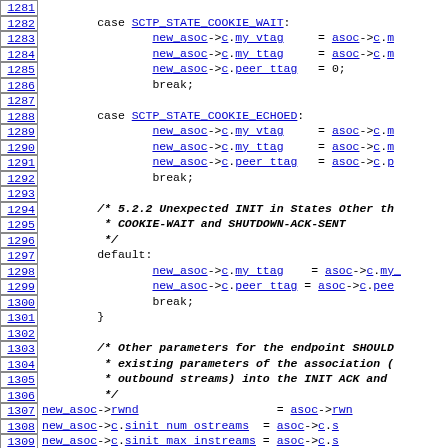Source code listing lines 1281-1310 showing C code for SCTP state machine handling
1281: (blank)
1282: case SCTP_STATE_COOKIE_WAIT:
1283:     new_asoc->c.my_vtag  = asoc->c.m...
1284:     new_asoc->c.my_ttag  = asoc->c.m...
1285:     new_asoc->c.peer_ttag = 0;
1286:     break;
1287: (blank)
1288: case SCTP_STATE_COOKIE_ECHOED:
1289:     new_asoc->c.my_vtag  = asoc->c.m...
1290:     new_asoc->c.my_ttag  = asoc->c.m...
1291:     new_asoc->c.peer_ttag = asoc->c.p...
1292:     break;
1293: (blank)
1294: /* 5.2.2 Unexpected INIT in States Other th...
1295:  * COOKIE-WAIT and SHUTDOWN-ACK-SENT
1296:  */
1297: default:
1298:     new_asoc->c.my_ttag   = asoc->c.my_...
1299:     new_asoc->c.peer_ttag = asoc->c.pee...
1300:     break;
1301: }
1302: (blank)
1303: /* Other parameters for the endpoint SHOULD...
1304:  * existing parameters of the association (...
1305:  * outbound streams) into the INIT ACK and...
1306:  */
1307: new_asoc->rwnd                  = asoc->rwn...
1308: new_asoc->c.sinit_num_ostreams  = asoc->c.s...
1309: new_asoc->c.sinit_max_instreams = asoc->c.s...
1310: new_asoc->c.initial_tsn         = asoc->c.i...